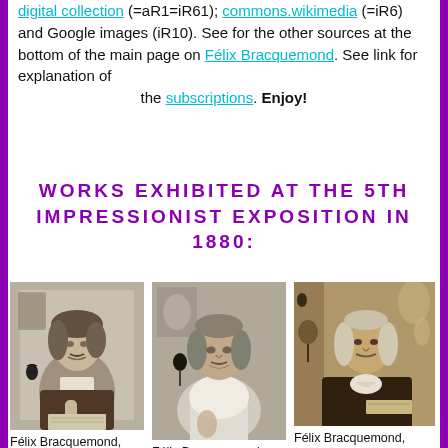digital collection (=aR1=iR61); commons.wikimedia (=iR6) and Google images (iR10). See for the other sources at the bottom of the main page on Félix Bracquemond. See link for explanation of the subscriptions. Enjoy!
WORKS EXHIBITED AT THE 5TH IMPRESSIONIST EXPOSITION IN 1880:
[Figure (photo): Black and white portrait sketch of Félix Bracquemond]
Félix Bracquemond,
[Figure (photo): Sketched portrait of Félix Bracquemond in charcoal/pencil style]
Félix Bracquemond, 5IE-1880-1. Portrait...
[Figure (photo): Sepia-toned painted portrait of Félix Bracquemond]
Félix Bracquemond, 5IE-1880-4. Portrait...